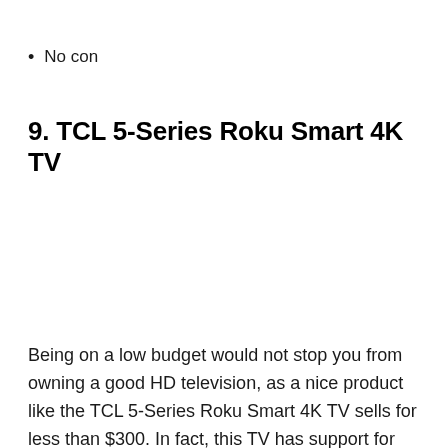No con
9. TCL 5-Series Roku Smart 4K TV
Being on a low budget would not stop you from owning a good HD television, as a nice product like the TCL 5-Series Roku Smart 4K TV sells for less than $300. In fact, this TV has support for 4K graphics.